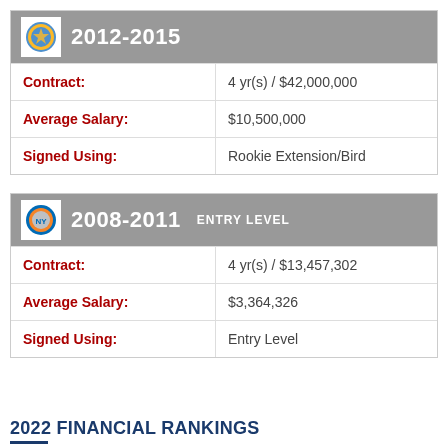|  |  |
| --- | --- |
| Contract: | 4 yr(s) / $42,000,000 |
| Average Salary: | $10,500,000 |
| Signed Using: | Rookie Extension/Bird |
|  |  |
| --- | --- |
| Contract: | 4 yr(s) / $13,457,302 |
| Average Salary: | $3,364,326 |
| Signed Using: | Entry Level |
2022 FINANCIAL RANKINGS